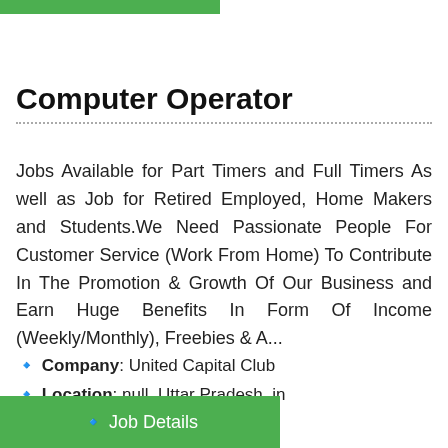[Figure (other): Green horizontal bar at top of page]
Computer Operator
Jobs Available for Part Timers and Full Timers As well as Job for Retired Employed, Home Makers and Students.We Need Passionate People For Customer Service (Work From Home) To Contribute In The Promotion & Growth Of Our Business and Earn Huge Benefits In Form Of Income (Weekly/Monthly), Freebies & A...
🔹 Company: United Capital Club
🔹 Location: null, Uttar Pradesh, in
[Figure (other): Green button bar at bottom reading '🔹 Job Details']